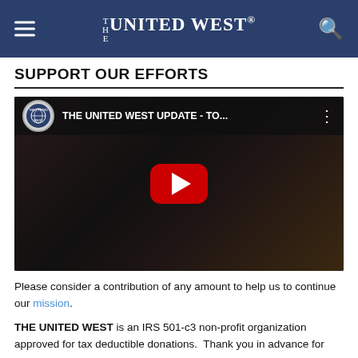THE UNITED WEST
SUPPORT OUR EFFORTS
[Figure (screenshot): YouTube video thumbnail showing a man in a dark t-shirt with hands raised, with the video title 'THE UNITED WEST UPDATE - TO...' and a red play button overlay.]
Please consider a contribution of any amount to help us to continue our mission.
THE UNITED WEST is an IRS 501-c3 non-profit organization approved for tax deductible donations.  Thank you in advance for your help.